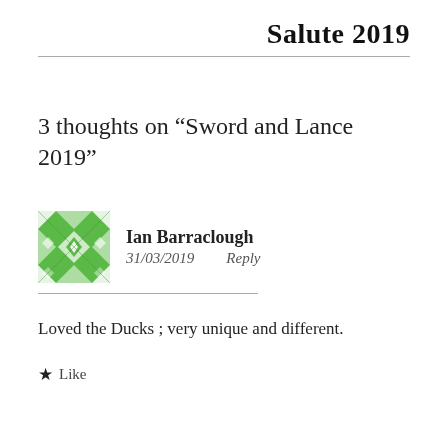Salute 2019
3 thoughts on “Sword and Lance 2019”
Ian Barraclough
31/03/2019   Reply
Loved the Ducks ; very unique and different.
★ Like